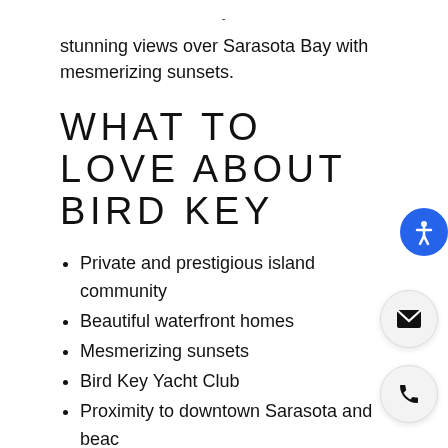stunning views over Sarasota Bay with mesmerizing sunsets.
WHAT TO LOVE ABOUT BIRD KEY
Private and prestigious island community
Beautiful waterfront homes
Mesmerizing sunsets
Bird Key Yacht Club
Proximity to downtown Sarasota and beaches
PEOPLE & LIFESTYLE
Bird Key is a private island community within reach of all the amenities and attractions in Sarasota and on other Florida Gulf islands. Spanning 250